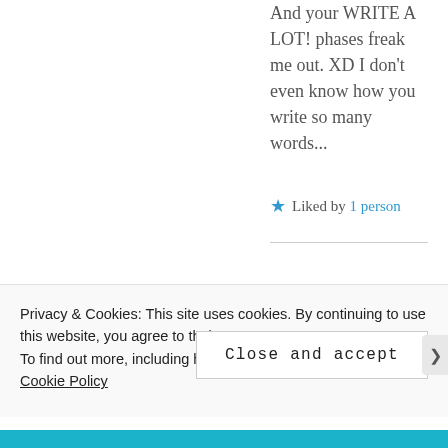And your WRITE A LOT! phases freak me out. XD I don't even know how you write so many words...
★ Liked by 1 person
Privacy & Cookies: This site uses cookies. By continuing to use this website, you agree to their use.
To find out more, including how to control cookies, see here: Cookie Policy
Close and accept